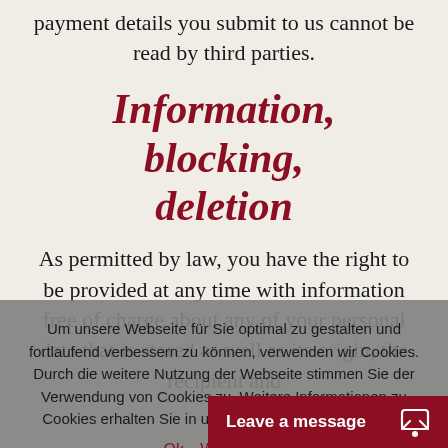payment details you submit to us cannot be read by third parties.
Information, blocking, deletion
As permitted by law, you have the right to be provided at any time with information free of charge about any of your personal data that is stored as well as its origin, the recipient and
Um unsere Webseite für Sie optimal zu gestalten und fortlaufend verbessern zu können, verwenden wir Cookies. Durch die weitere Nutzung der Webseite stimmen Sie der Verwendung von Cookies zu. Weitere Informationen zu Cookies erhalten Sie in unserer Datenschutzerklärung.
Ok   Weiterlesen
Leave a message